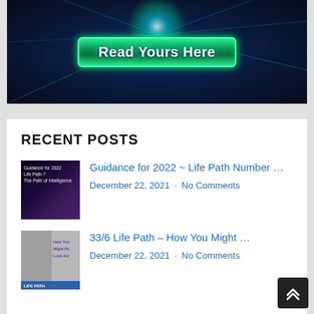[Figure (illustration): Colorful numerology banner image with numbers and glowing light effects, with a green button overlay reading 'Read Yours Here']
RECENT POSTS
[Figure (photo): Thumbnail image for 'Guidance for 2022 ~ Life Path Number 7 The Path of Intelligence' post, dark purple background with text]
Guidance for 2022 ~ Life Path Number …
December 22, 2021 · No Comments
[Figure (photo): Thumbnail for '33/6 Life Path – How You Might Put Love Aside' post with grayscale image and purple text]
33/6 Life Path – How You Might …
December 22, 2021 · No Comments